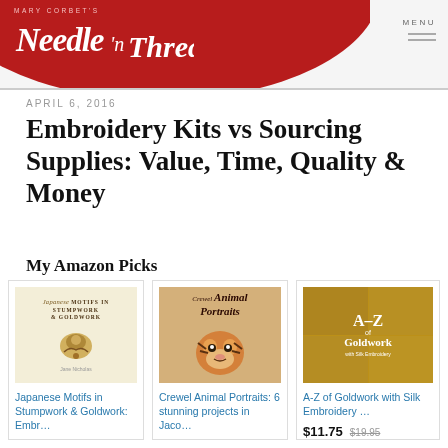Mary Corbet's Needle 'n Thread
APRIL 6, 2016
Embroidery Kits vs Sourcing Supplies: Value, Time, Quality & Money
My Amazon Picks
[Figure (other): Book cover: Japanese Motifs in Stumpwork & Goldwork]
Japanese Motifs in Stumpwork & Goldwork: Embr…
[Figure (other): Book cover: Crewel Animal Portraits showing a tiger]
Crewel Animal Portraits: 6 stunning projects in Jaco…
[Figure (other): Book cover: A-Z of Goldwork with Silk Embroidery]
A-Z of Goldwork with Silk Embroidery …
$11.75  $19.95